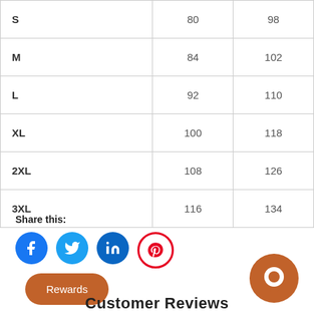| S | 80 | 98 |
| M | 84 | 102 |
| L | 92 | 110 |
| XL | 100 | 118 |
| 2XL | 108 | 126 |
| 3XL | 116 | 134 |
Share this:
[Figure (infographic): Social share icons: Facebook, Twitter, LinkedIn, Pinterest]
Rewards
[Figure (illustration): Chat bubble / messenger icon in orange]
Customer Reviews